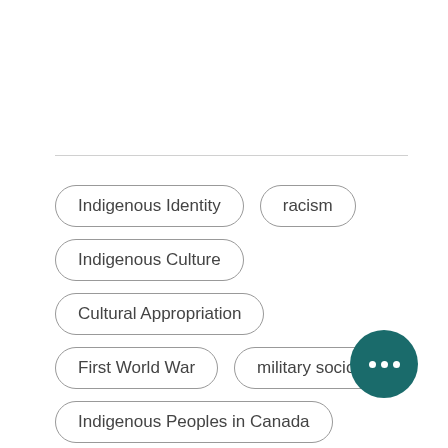Indigenous Identity
racism
Indigenous Culture
Cultural Appropriation
First World War
military sociology
Indigenous Peoples in Canada